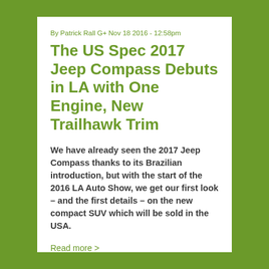By Patrick Rall G+ Nov 18 2016 - 12:58pm
The US Spec 2017 Jeep Compass Debuts in LA with One Engine, New Trailhawk Trim
We have already seen the 2017 Jeep Compass thanks to its Brazilian introduction, but with the start of the 2016 LA Auto Show, we get our first look – and the first details – on the new compact SUV which will be sold in the USA.
Read more >